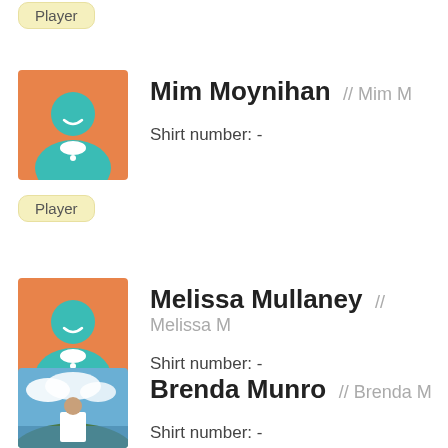[Figure (illustration): Player badge label (partially visible at top)]
[Figure (illustration): Default avatar: teal silhouette head on orange jersey background]
Mim Moynihan // Mim M
Shirt number: -
Player
[Figure (illustration): Default avatar: teal silhouette head on orange jersey background]
Melissa Mullaney // Melissa M
Shirt number: -
Player
[Figure (photo): Photo of Brenda Munro outdoors, wearing white top, with lake and hills in background]
Brenda Munro // Brenda M
Shirt number: -